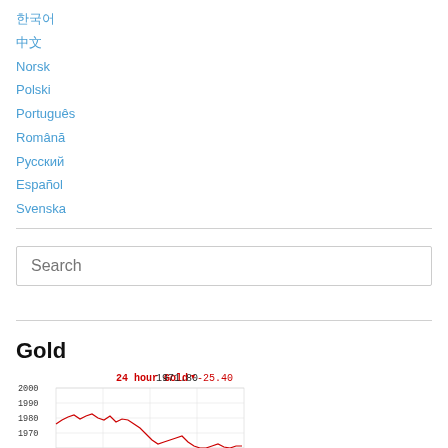한국어
中文
Norsk
Polski
Português
Română
Русский
Español
Svenska
Search
Gold
[Figure (continuous-plot): 24 hour Gold price chart showing price around 1971.80, down -25.40. Y-axis labels: 2000, 1990, 1980, 1970. Red line chart showing intraday gold price movement.]